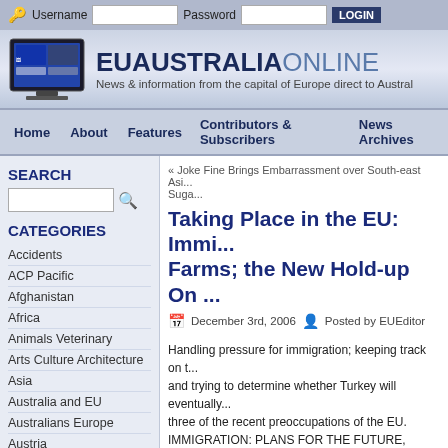Username [input] Password [input] LOGIN
[Figure (logo): EUAustraliaOnline website header with monitor logo and site name]
Home  About  Features  Contributors & Subscribers  News Archives
SEARCH
CATEGORIES
Accidents
ACP Pacific
Afghanistan
Africa
Animals Veterinary
Arts Culture Architecture
Asia
Australia and EU
Australians Europe
Austria
« Joke Fine Brings Embarrassment over South-east Asi... Suga...
Taking Place in the EU: Immi... Farms; the New Hold-up On ...
December 3rd, 2006   Posted by EUEditor
Handling pressure for immigration; keeping track on t... and trying to determine whether Turkey will eventually... three of the recent preoccupations of the EU. IMMIGRATION: PLANS FOR THE FUTURE, RESPO...
The crisis this year brought on by thousands of clande... arriving in Europe from Africa, by boat, has added urg... policy documents made public by the European Comm... week.